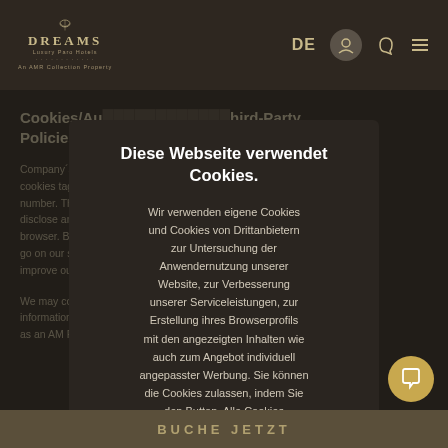DREAMS | DE
Cookies/Au... hird-Party Policies
Company´s... e. Our cookies tag... que number. The... s not disclose any... sing the browser. By... browsers go on our s... sage, and improve ou...
We may co... with information... entify you as an AM Re... parties...
[Figure (screenshot): Cookie consent modal dialog in German: 'Diese Webseite verwendet Cookies.' with body text about cookie usage]
Diese Webseite verwendet Cookies.

Wir verwenden eigene Cookies und Cookies von Drittanbietern zur Untersuchung der Anwendernutzung unserer Website, zur Verbesserung unserer Serviceleistungen, zur Erstellung ihres Browserprofils mit den angezeigten Inhalten wie auch zum Angebot individuell angepasster Werbung. Sie können die Cookies zulassen, indem Sie den Button Alle Cookies
BUCHE JETZT